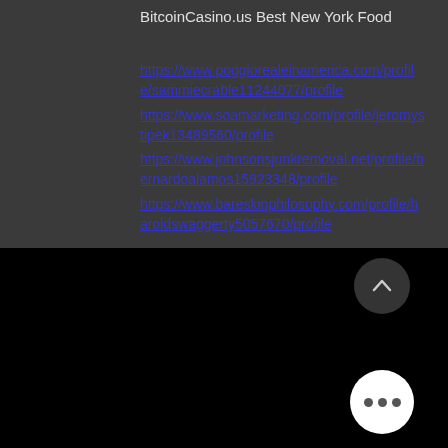BitcoinCasino.us Best New York Food
https://www.poggiorealeinamerica.com/profile/sammiecrable11244077/profile https://www.soamarketing.com/profile/jeromystipek13489560/profile https://www.johnsonsjunkremoval.net/profile/bernardoalamos15923348/profile https://www.bareskinphilosophy.com/profile/haroldswaggerty5057670/profile
[Figure (screenshot): Black lower section of a web page with a scroll-to-top button (chevron up in grey circle) and a more-options button (three dots in white circle)]